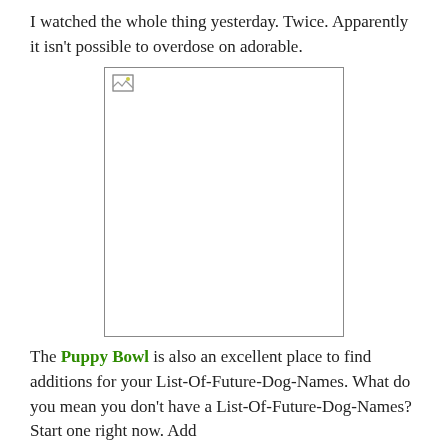I watched the whole thing yesterday. Twice. Apparently it isn't possible to overdose on adorable.
[Figure (photo): A broken/missing image placeholder shown as a white rectangle with a small broken image icon in the top-left corner, surrounded by a thin border.]
The Puppy Bowl is also an excellent place to find additions for your List-Of-Future-Dog-Names. What do you mean you don't have a List-Of-Future-Dog-Names? Start one right now. Add